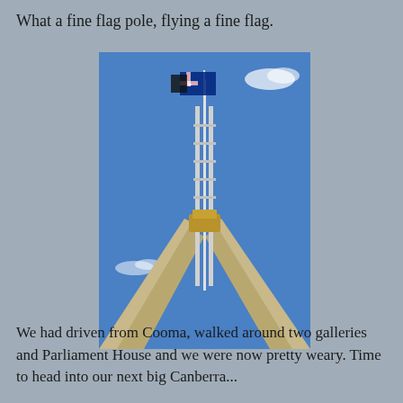What a fine flag pole, flying a fine flag.
[Figure (photo): A photograph taken looking up at the Australian Parliament House flagpole in Canberra, showing the large steel flag mast structure with angled support beams against a blue sky, with the Australian flag flying at the top.]
We had driven from Cooma, walked around two galleries and Parliament House and we were now pretty weary. Time to head into our next big Canberra...